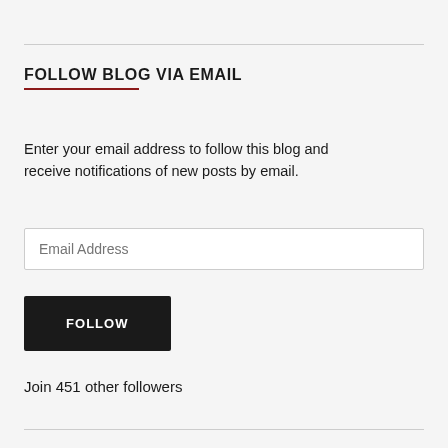FOLLOW BLOG VIA EMAIL
Enter your email address to follow this blog and receive notifications of new posts by email.
Email Address
FOLLOW
Join 451 other followers